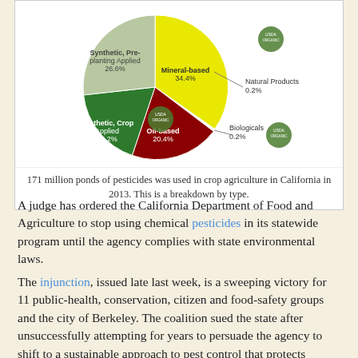[Figure (pie-chart): Pesticide types used in California crop agriculture 2013]
171 million ponds of pesticides was used in crop agriculture in California in 2013. This is a breakdown by type.
A judge has ordered the California Department of Food and Agriculture to stop using chemical pesticides in its statewide program until the agency complies with state environmental laws.
The injunction, issued late last week, is a sweeping victory for 11 public-health, conservation, citizen and food-safety groups and the city of Berkeley. The coalition sued the state after unsuccessfully attempting for years to persuade the agency to shift to a sustainable approach to pest control that protects human health and the environment.
Despite thousands of comment letters urging the department to adopt a more sustainable approach in 2014, agency leaders...